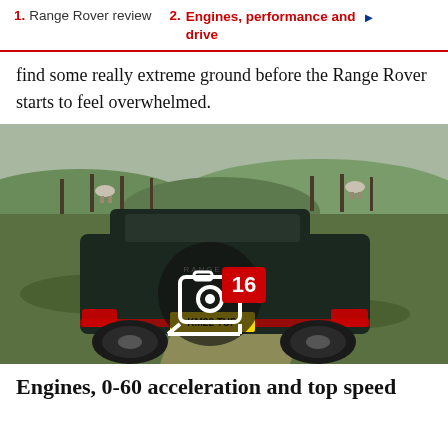1. Range Rover review   2. Engines, performance and drive
find some really extreme ground before the Range Rover starts to feel overwhelmed.
[Figure (photo): Range Rover SUV driving off-road on grassy terrain with sheep in background. Camera/gallery icon overlay with red badge showing '16'.]
Engines, 0-60 acceleration and top speed